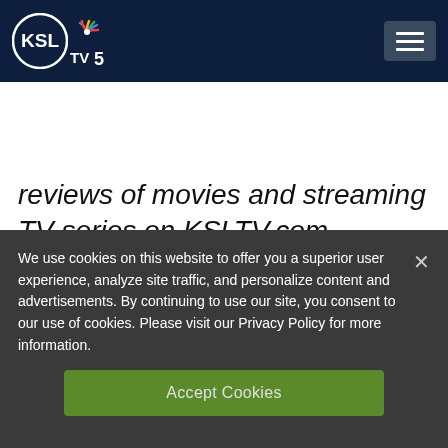KSL TV 5 NBC
reviews of movies and streaming TV series on KSLTV.com
We use cookies on this website to offer you a superior user experience, analyze site traffic, and personalize content and advertisements. By continuing to use our site, you consent to our use of cookies. Please visit our Privacy Policy for more information.